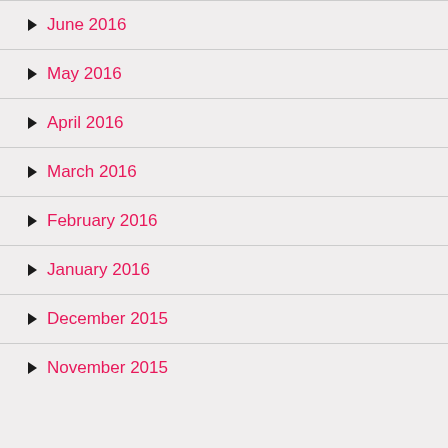June 2016
May 2016
April 2016
March 2016
February 2016
January 2016
December 2015
November 2015